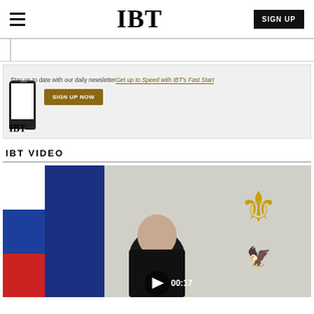IBT — SIGN UP
Stay up to date with our daily newsletter Get up to Speed with IBT's Fast Start
SIGN UP NOW
IBT VIDEO
[Figure (photo): Video thumbnail showing a person from behind in front of a Russian flag and Russian coat of arms, with a play button overlay and duration 00:17]